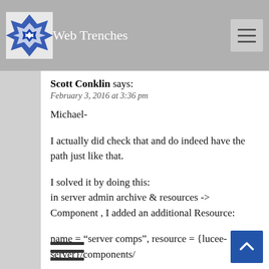Web Trenches
Scott Conklin says:
February 3, 2016 at 3:36 pm
Michael-

I actually did check that and do indeed have the path just like that.

I solved it by doing this:
in server admin archive & resources -> Component , I added an additional Resource:

name = "server comps", resource = {lucee-server}/components/

after noticing that I only had name ="default", resource= {lucee-web}/components/

Then it worked.